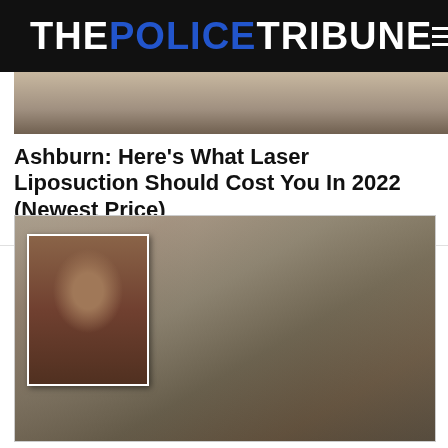THE POLICE TRIBUNE
[Figure (photo): Partial photo at top, cropped, showing figures in an indoor setting]
Ashburn: Here's What Laser Liposuction Should Cost You In 2022 (Newest Price)
Weight Loss | Sponsored
[Figure (photo): Surveillance camera footage showing a person in a dark shirt with red cap at a store counter; inset mugshot of a man in the upper left corner; another person in a tan/khaki hat visible at bottom right]